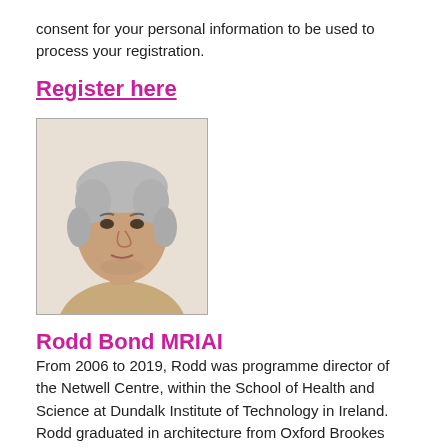consent for your personal information to be used to process your registration.
Register here
[Figure (photo): Headshot photo of Rodd Bond, a middle-aged man with grey/white hair, wearing a beige jacket, white background.]
Rodd Bond MRIAI
From 2006 to 2019, Rodd was programme director of the Netwell Centre, within the School of Health and Science at Dundalk Institute of Technology in Ireland. Rodd graduated in architecture from Oxford Brookes